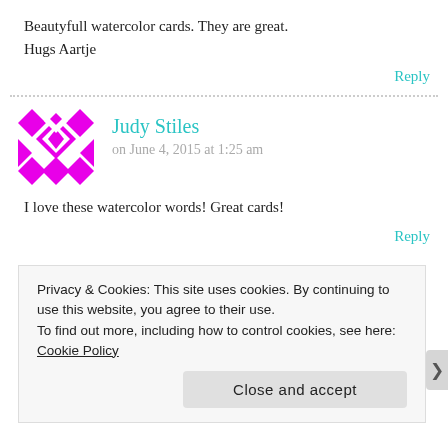Beautyfull watercolor cards. They are great.
Hugs Aartje
Reply
[Figure (illustration): Magenta/pink checkerboard diamond pattern avatar icon for commenter Judy Stiles]
Judy Stiles
on June 4, 2015 at 1:25 am
I love these watercolor words! Great cards!
Reply
Privacy & Cookies: This site uses cookies. By continuing to use this website, you agree to their use.
To find out more, including how to control cookies, see here: Cookie Policy
Close and accept